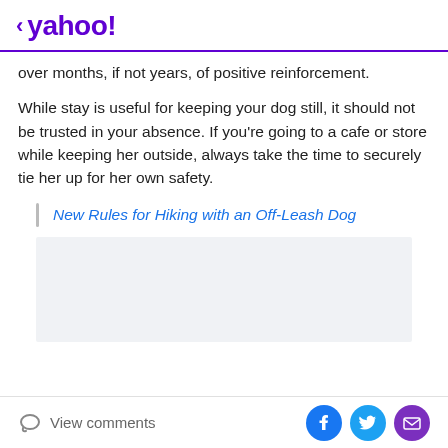< yahoo!
over months, if not years, of positive reinforcement.
While stay is useful for keeping your dog still, it should not be trusted in your absence. If you're going to a cafe or store while keeping her outside, always take the time to securely tie her up for her own safety.
New Rules for Hiking with an Off-Leash Dog
[Figure (other): Advertisement block, light gray background]
View comments | Facebook share | Twitter share | Email share